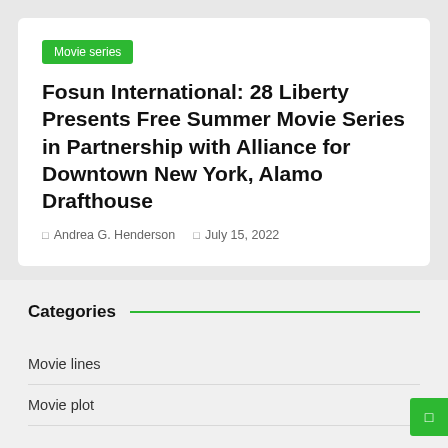Movie series
Fosun International: 28 Liberty Presents Free Summer Movie Series in Partnership with Alliance for Downtown New York, Alamo Drafthouse
Andrea G. Henderson   July 15, 2022
Categories
Movie lines
Movie plot